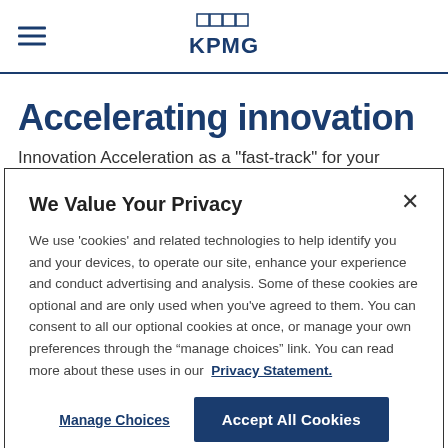KPMG
Accelerating innovation
Innovation Acceleration as a "fast-track" for your
We Value Your Privacy
We use 'cookies' and related technologies to help identify you and your devices, to operate our site, enhance your experience and conduct advertising and analysis. Some of these cookies are optional and are only used when you've agreed to them. You can consent to all our optional cookies at once, or manage your own preferences through the “manage choices” link. You can read more about these uses in our Privacy Statement.
Manage Choices | Accept All Cookies